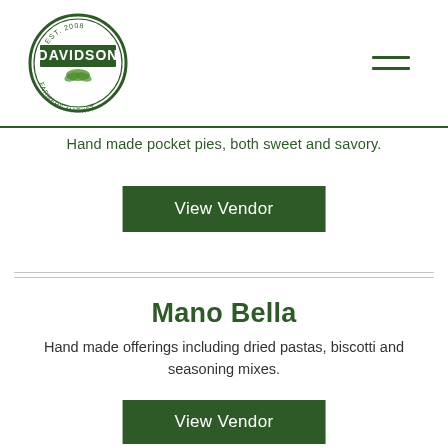Davidson Farmers Market logo and navigation
Hand made pocket pies, both sweet and savory.
View Vendor
Mano Bella
Hand made offerings including dried pastas, biscotti and seasoning mixes.
View Vendor
Mood Indigo
Natural soaps, body butters, scrubs, lip balms,